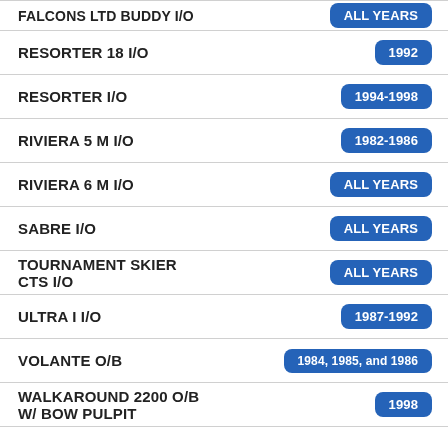| Model | Years |
| --- | --- |
| FALCONS LTD BUDDY I/O | ALL YEARS |
| RESORTER 18 I/O | 1992 |
| RESORTER I/O | 1994-1998 |
| RIVIERA 5 M I/O | 1982-1986 |
| RIVIERA 6 M I/O | ALL YEARS |
| SABRE I/O | ALL YEARS |
| TOURNAMENT SKIER CTS I/O | ALL YEARS |
| ULTRA I I/O | 1987-1992 |
| VOLANTE O/B | 1984, 1985, and 1986 |
| WALKAROUND 2200 O/B W/ BOW PULPIT | 1998 |